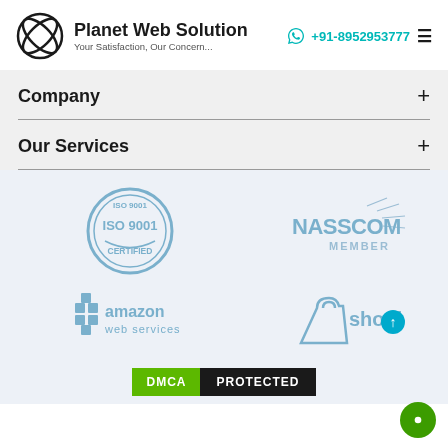[Figure (logo): Planet Web Solution logo with circular orbit icon, company name and tagline 'Your Satisfaction, Our Concern...' and contact +91-8952953777 with WhatsApp icon and hamburger menu]
Company +
Our Services +
[Figure (logo): ISO 9001 Certified badge in blue]
[Figure (logo): NASSCOM Member logo in blue]
[Figure (logo): Amazon Web Services logo in blue]
[Figure (logo): Shopify logo in blue with scroll-up button overlay]
[Figure (logo): DMCA Protected badge - green DMCA label and black PROTECTED label]
[Figure (other): Green circular chat bubble icon bottom right]